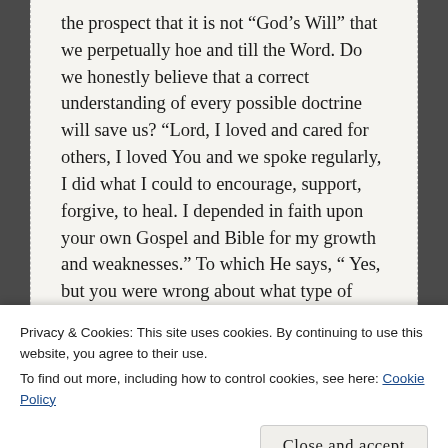the prospect that it is not “God’s Will” that we perpetually hoe and till the Word. Do we honestly believe that a correct understanding of every possible doctrine will save us? “Lord, I loved and cared for others, I loved You and we spoke regularly, I did what I could to encourage, support, forgive, to heal. I depended in faith upon your own Gospel and Bible for my growth and weaknesses.” To which He says, “ Yes, but you were wrong about what type of music I prefer so, oops, sorry, you’re out of Zion… (shakes head, shrugs shoulders)”.
Privacy & Cookies: This site uses cookies. By continuing to use this website, you agree to their use.
To find out more, including how to control cookies, see here: Cookie Policy
Close and accept